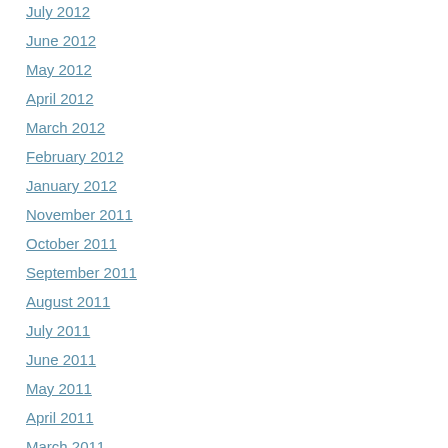July 2012
June 2012
May 2012
April 2012
March 2012
February 2012
January 2012
November 2011
October 2011
September 2011
August 2011
July 2011
June 2011
May 2011
April 2011
March 2011